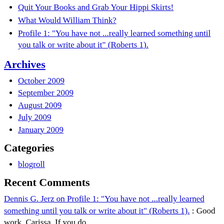Quit Your Books and Grab Your Hippi Skirts!
What Would William Think?
Profile 1: "You have not ...really learned something until you talk or write about it" (Roberts 1).
Archives
October 2009
September 2009
August 2009
July 2009
January 2009
Categories
blogroll
Recent Comments
Dennis G. Jerz on Profile 1: "You have not ...really learned something until you talk or write about it" (Roberts 1). : Good work, Carissa. If you do
[Figure (logo): BLOGS SETONHILL EDU logo badge]
Subscribe to this blog's feed